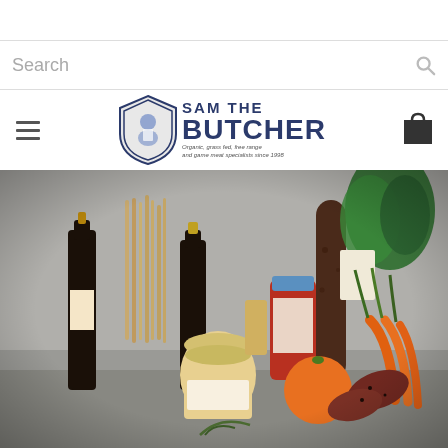Search
[Figure (logo): Sam The Butcher logo with shield emblem featuring a butcher, text 'SAM THE BUTCHER' and tagline 'Organic, grass fed, free range and game meat specialists since 1998']
[Figure (photo): Food photography showing an assortment of gourmet ingredients including dark wine/sauce bottles, pasta, a jar of preserved goods, a jar of mustard or preserves, an orange, sausages/charcuterie, carrots, fresh herbs/parsley, and a tomato sauce jar arranged on a counter]